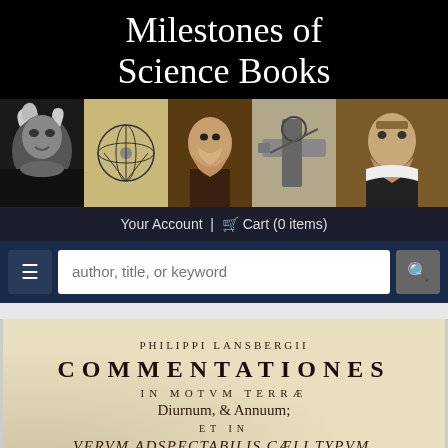Milestones of Science Books
[Figure (photo): Horizontal strip of five historical scientific figures and diagrams: Einstein, a mechanical diagram, Galileo, a telescope diagram, and Kepler]
Your Account  |  Cart (0 items)
author, title, or keyword
[Figure (photo): Scanned page of an old Latin book showing the title: PHILIPPI LANSBERGII COMMENTATIONES IN MOTUM TERRAE Diurnum, & Annuum; ET IN VERUM ADSPECTABILIS CAELI TYPUM.]